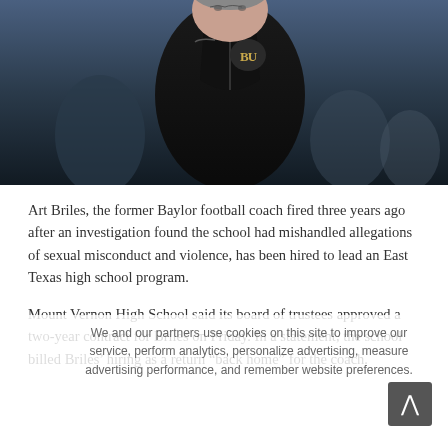[Figure (photo): A man wearing a black Baylor University (BU logo) jacket/pullover standing on what appears to be a sports field at night, viewed from chest-up. The background is dark with blurred figures.]
Art Briles, the former Baylor football coach fired three years ago after an investigation found the school had mishandled allegations of sexual misconduct and violence, has been hired to lead an East Texas high school program.
Mount Vernon High School said its board of trustees approved a two-year contract for Briles on Friday. In a statement, the school billed Briles' hiring as a return “back home” for the coach.
We and our partners use cookies on this site to improve our service, perform analytics, personalize advertising, measure advertising performance, and remember website preferences.
“He brings with him a wealth of not only football experience but also life experience,” Mount Vernon Independent School